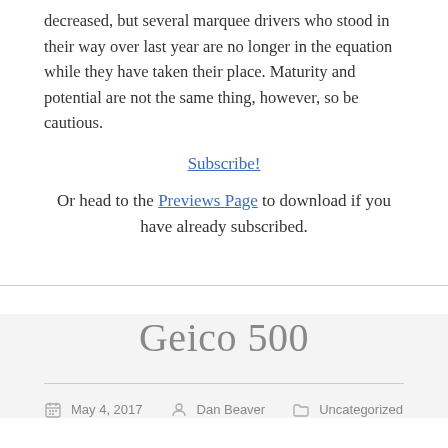decreased, but several marquee drivers who stood in their way over last year are no longer in the equation while they have taken their place. Maturity and potential are not the same thing, however, so be cautious.
Subscribe!
Or head to the Previews Page to download if you have already subscribed.
Geico 500
May 4, 2017   Dan Beaver   Uncategorized